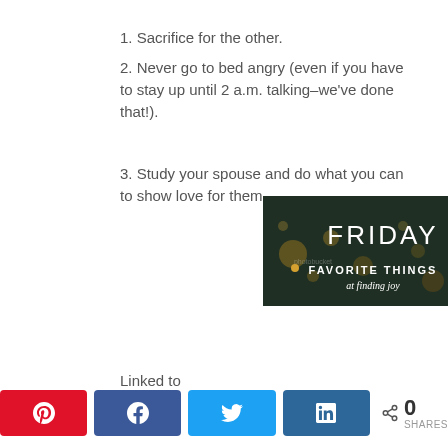1. Sacrifice for the other.
2. Never go to bed angry (even if you have to stay up until 2 a.m. talking–we've done that!).
3. Study your spouse and do what you can to show love for them.
[Figure (photo): Friday Favorite Things at finding joy – decorative image with bokeh lights and text overlay reading FRIDAY FAVORITE THINGS at finding joy]
Linked to
[Figure (infographic): Social share bar with Pinterest (red), Facebook (blue), Twitter (light blue), LinkedIn (dark blue) buttons and share count showing 0 SHARES]